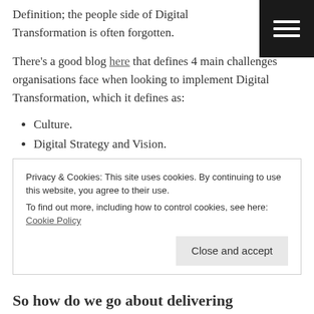Definition; the people side of Digital Transformation is often forgotten.
[Figure (other): Hamburger menu icon button (three white horizontal lines on black background)]
There's a good blog here that defines 4 main challenges organisations face when looking to implement Digital Transformation, which it defines as:
Culture.
Digital Strategy and Vision.
IT infrastructure and digital expertise.
Organisational Structure.
Here, we see Culture is the first/largest challenge mainly organisations face:
Privacy & Cookies: This site uses cookies. By continuing to use this website, you agree to their use. To find out more, including how to control cookies, see here: Cookie Policy
Close and accept
So how do we go about delivering